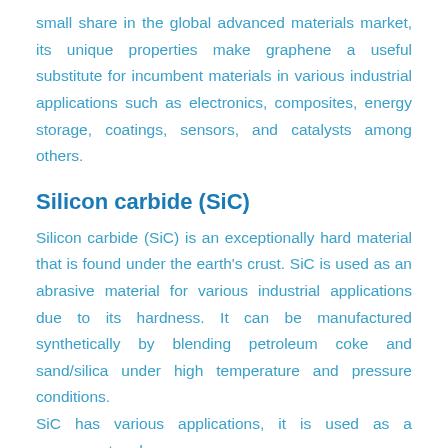small share in the global advanced materials market, its unique properties make graphene a useful substitute for incumbent materials in various industrial applications such as electronics, composites, energy storage, coatings, sensors, and catalysts among others.
Silicon carbide (SiC)
Silicon carbide (SiC) is an exceptionally hard material that is found under the earth's crust. SiC is used as an abrasive material for various industrial applications due to its hardness. It can be manufactured synthetically by blending petroleum coke and sand/silica under high temperature and pressure conditions.
SiC has various applications, it is used as a component and